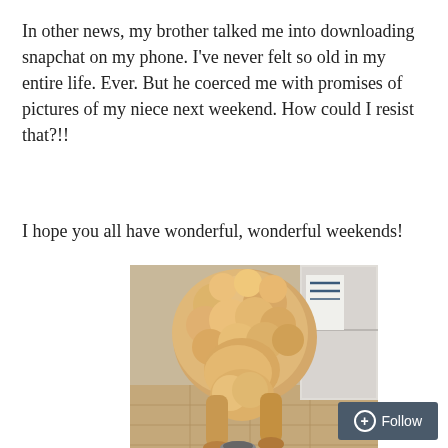In other news, my brother talked me into downloading snapchat on my phone. I've never felt so old in my entire life. Ever. But he coerced me with promises of pictures of my niece next weekend. How could I resist that?!!
I hope you all have wonderful, wonderful weekends!
[Figure (photo): A fluffy golden/cream colored curly-haired dog (likely a goldendoodle or poodle mix) bending down to eat from a bowl on a tiled kitchen floor, with a refrigerator visible in the background.]